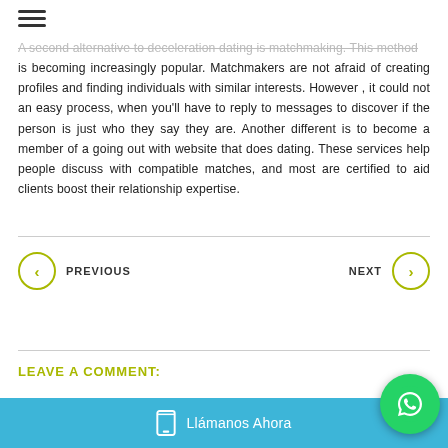A second alternative to deceleration dating is matchmaking. This method is becoming increasingly popular. Matchmakers are not afraid of creating profiles and finding individuals with similar interests. However , it could not an easy process, when you'll have to reply to messages to discover if the person is just who they say they are. Another different is to become a member of a going out with website that does dating. These services help people discuss with compatible matches, and most are certified to aid clients boost their relationship expertise.
PREVIOUS
NEXT
LEAVE A COMMENT:
Llámanos Ahora